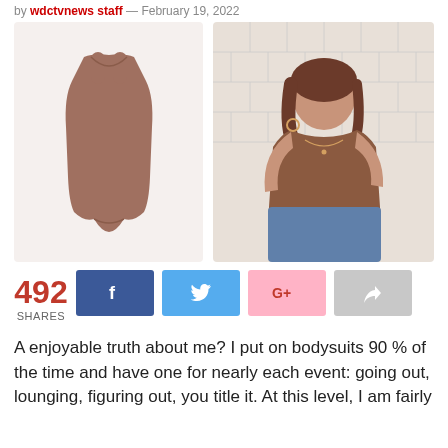by wdctvnews staff — February 19, 2022
[Figure (photo): Product image of a brown/mauve bodysuit on white background, and a photo of a young woman wearing the brown bodysuit with jeans, standing in front of a white tile wall.]
492 SHARES
[Figure (infographic): Social share buttons: Facebook (dark blue, 'f' icon), Twitter (light blue, bird icon), Google+ (pink, 'G+' icon), Forward/share (gray, arrow icon)]
A enjoyable truth about me? I put on bodysuits 90 % of the time and have one for nearly each event: going out, lounging, figuring out, you title it. At this level, I am fairly